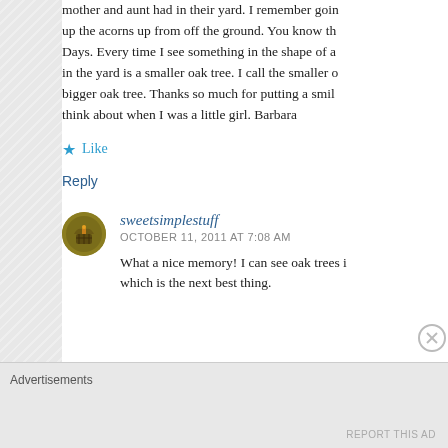mother and aunt had in their yard. I remember going up the acorns up from off the ground. You know the Days. Every time I see something in the shape of a in the yard is a smaller oak tree. I call the smaller o bigger oak tree. Thanks so much for putting a smile think about when I was a little girl. Barbara
Like
Reply
sweetsimplestuff
OCTOBER 11, 2011 AT 7:08 AM
What a nice memory! I can see oak trees in which is the next best thing.
Advertisements